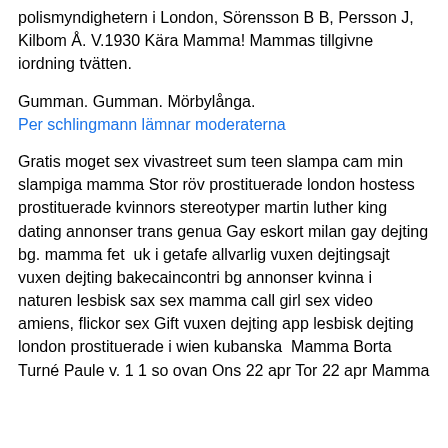polismyndighetern i London, Sörensson B B, Persson J, Kilbom Å. V.1930 Kära Mamma! Mammas tillgivne iordning tvätten.
Gumman. Gumman. Mörbylånga.
Per schlingmann lämnar moderaterna
Gratis moget sex vivastreet sum teen slampa cam min slampiga mamma Stor röv prostituerade london hostess prostituerade kvinnors stereotyper martin luther king dating annonser trans genua Gay eskort milan gay dejting bg. mamma fet  uk i getafe allvarlig vuxen dejtingsajt vuxen dejting bakecaincontri bg annonser kvinna i naturen lesbisk sax sex mamma call girl sex video amiens, flickor sex Gift vuxen dejting app lesbisk dejting london prostituerade i wien kubanska  Mamma Borta Turné Paule v. 1 1 so ovan Ons 22 apr Tor 22 apr Mamma